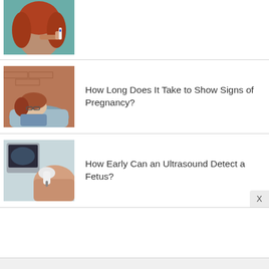[Figure (photo): Partial view of a woman with curly red hair pointing at a pregnancy test]
[Figure (photo): Woman sleeping or resting on a bed, looking tired]
How Long Does It Take to Show Signs of Pregnancy?
[Figure (photo): Medical professional performing an ultrasound procedure]
How Early Can an Ultrasound Detect a Fetus?